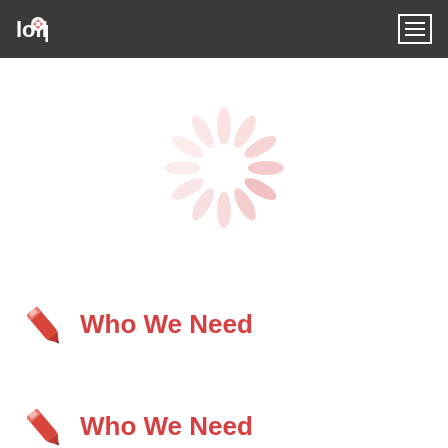lollipop
[Figure (illustration): A loading spinner made of 12 light pink elongated oval shapes arranged in a circle, suggesting a spinning/loading animation.]
Who We Need
Who We Need